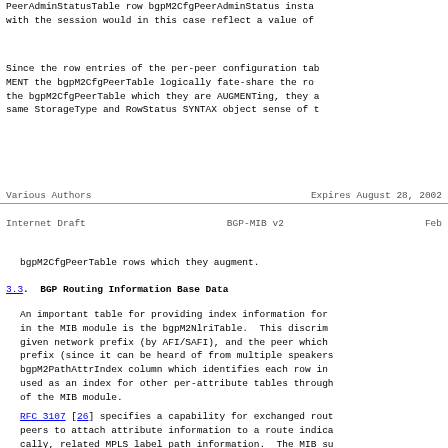PeerAdminStatusTable row bgpM2CfgPeerAdminStatus insta... with the session would in this case reflect a value of
Since the row entries of the per-peer configuration tab... MENT the bgpM2CfgPeerTable logically fate-share the ro... the bgpM2CfgPeerTable which they are AUGMENTing, they a... same StorageType and RowStatus SYNTAX object sense of t...
Various Authors                    Expires August 28, 2002
Internet Draft                  BGP-MIB v2                  Feb
bgpM2CfgPeerTable rows which they augment.
3.3.  BGP Routing Information Base Data
An important table for providing index information for... in the MIB module is the bgpM2NlriTable. This discrim... given network prefix (by AFI/SAFI), and the peer which... prefix (since it can be heard of from multiple speakers... bgpM2PathAttrIndex column which identifies each row in... used as an index for other per-attribute tables through... of the MIB module.
RFC 3107 [26] specifies a capability for exchanged rout... peers to attach attribute information to a route indica... cally, related MPLS label path information. The MIB su...